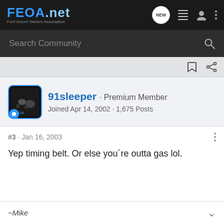FEOA.net - Ford Escort Owners Association
Search Community
91sleeper · Premium Member
Joined Apr 14, 2002 · 1,675 Posts
#3 · Jan 16, 2003
Yep timing belt. Or else you´re outta gas lol.
~Mike